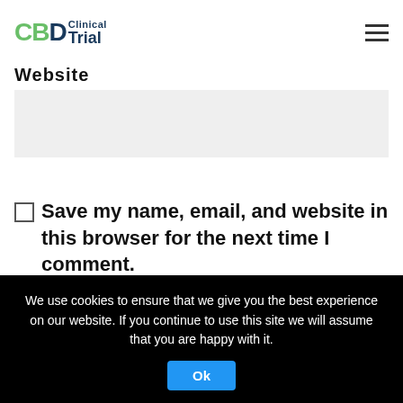[Figure (logo): CBD Clinical Trial logo with green CBD letters and dark blue 'Clinical Trial' text]
Website
[Figure (screenshot): Empty light gray text input field for website URL]
Save my name, email, and website in this browser for the next time I comment.
[Figure (screenshot): reCAPTCHA widget with checkbox, 'I'm not a robot' text, and reCAPTCHA logo with Privacy and Terms links]
We use cookies to ensure that we give you the best experience on our website. If you continue to use this site we will assume that you are happy with it.